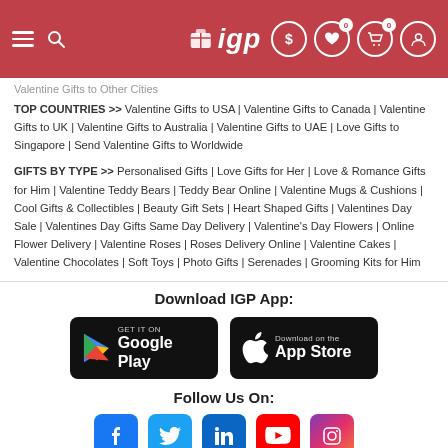IGP header navigation with logo, search, currency, wishlist (0), cart (0), and account icons
Valentine Gifts to Other Cities
TOP COUNTRIES >> Valentine Gifts to USA | Valentine Gifts to Canada | Valentine Gifts to UK | Valentine Gifts to Australia | Valentine Gifts to UAE | Love Gifts to Singapore | Send Valentine Gifts to Worldwide
GIFTS BY TYPE >> Personalised Gifts | Love Gifts for Her | Love & Romance Gifts for Him | Valentine Teddy Bears | Teddy Bear Online | Valentine Mugs & Cushions | Cool Gifts & Collectibles | Beauty Gift Sets | Heart Shaped Gifts | Valentines Day Sale | Valentines Day Gifts Same Day Delivery | Valentine's Day Flowers | Online Flower Delivery | Valentine Roses | Roses Delivery Online | Valentine Cakes | Valentine Chocolates | Soft Toys | Photo Gifts | Serenades | Grooming Kits for Him
Download IGP App:
[Figure (logo): Google Play store download button - black rounded rectangle with Google Play triangle logo and text GET IT ON Google Play]
[Figure (logo): Apple App Store download button - black rounded rectangle with Apple logo and text Download on the App Store]
Follow Us On:
[Figure (infographic): Social media icons row: Facebook (blue), Twitter (light blue), LinkedIn (teal/blue), YouTube (red), Instagram (gradient purple-orange)]